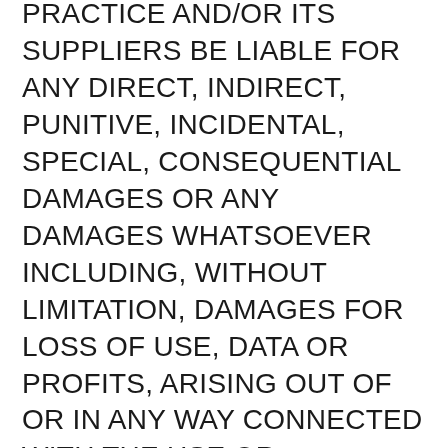PRACTICE AND/OR ITS SUPPLIERS BE LIABLE FOR ANY DIRECT, INDIRECT, PUNITIVE, INCIDENTAL, SPECIAL, CONSEQUENTIAL DAMAGES OR ANY DAMAGES WHATSOEVER INCLUDING, WITHOUT LIMITATION, DAMAGES FOR LOSS OF USE, DATA OR PROFITS, ARISING OUT OF OR IN ANY WAY CONNECTED WITH THE USE OR PERFORMANCE OF THIS PRACTICE WEB SITE, WITH THE DELAY OR INABILITY TO USE THIS PRACTICE WEB SITE OR RELATED SERVICES, THE PROVISION OF OR FAILURE TO PROVIDE SERVICES, OR FOR ANY INFORMATION, SOFTWARE, PRODUCTS, SERVICES AND RELATED GRAPHICS OBTAINED THROUGH THIS PRACTICE WEB SITE, OR OTHERWISE ARISING OUT OF THE